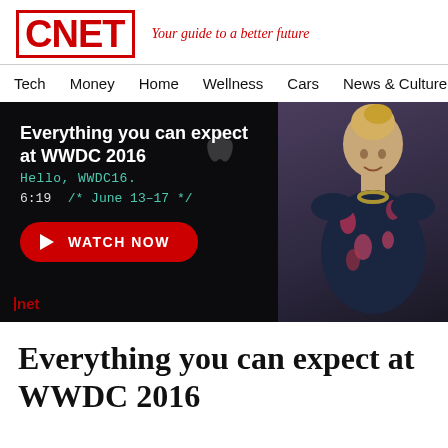CNET — Your guide to a better future
Tech  Money  Home  Wellness  Cars  News & Culture
[Figure (screenshot): CNET video thumbnail showing a man in a floral shirt against a dark background with Apple/WWDC branding. Overlay text reads 'Everything you can expect at WWDC 2016', code-style lines 'Hello, WWDC16.' and '/* June 13-17 */', a duration of 6:19, and a red WATCH NOW button. The CNET logo watermark appears in bottom-left.]
Everything you can expect at WWDC 2016